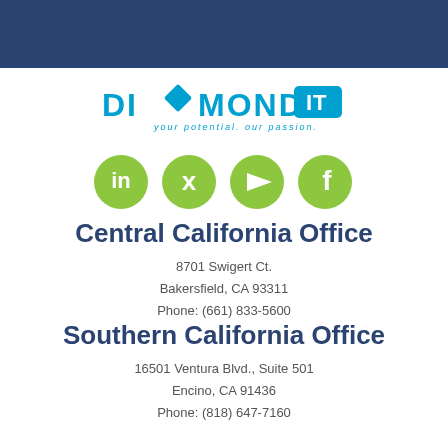[Figure (logo): Diamond IT logo with cyan text and IT in a cyan box, tagline 'your potential. our passion.']
[Figure (infographic): Four green circular social media icons: LinkedIn, Twitter, YouTube, Facebook]
Central California Office
8701 Swigert Ct.
Bakersfield, CA 93311
Phone: (661) 833-5600
Southern California Office
16501 Ventura Blvd., Suite 501
Encino, CA 91436
Phone: (818) 647-7160